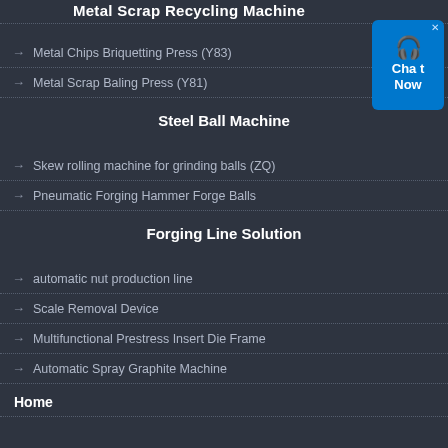Metal Scrap Recycling Machine
Metal Chips Briquetting Press (Y83)
Metal Scrap Baling Press (Y81)
Steel Ball Machine
Skew rolling machine for grinding balls (ZQ)
Pneumatic Forging Hammer Forge Balls
Forging Line Solution
automatic nut production line
Scale Removal Device
Multifunctional Prestress Insert Die Frame
Automatic Spray Graphite Machine
Home